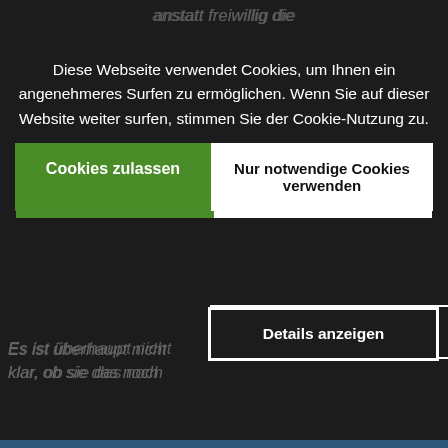[Figure (screenshot): Cookie consent dialog overlaid on a dark background webpage showing German text. The dialog has a cookie notice text in white, two buttons: 'Cookies zulassen' (green) and 'Nur notwendige Cookies verwenden' (white), and a 'Details anzeigen' button. Behind the dialog, italic German text is partially visible. The lower portion shows a light gray content area with dark blue left margin and italic German text about SYSTEMWANDEL.]